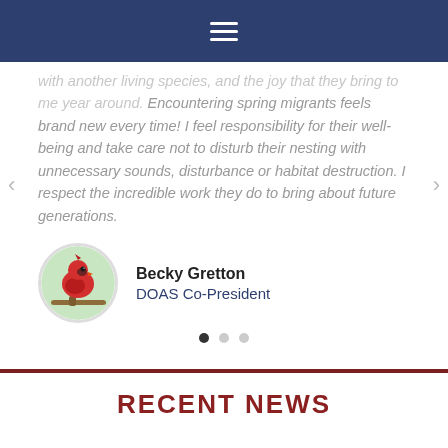Navigation bar with hamburger menu
with another living species, and the joy that they bring to me year around. Encountering spring migrants feels brand new every time! I feel responsibility for their well-being and take care not to disturb their nesting with unnecessary sounds, disturbance or habitat destruction. I respect the incredible work they do to bring about future generations.
Becky Gretton
DOAS Co-President
RECENT NEWS